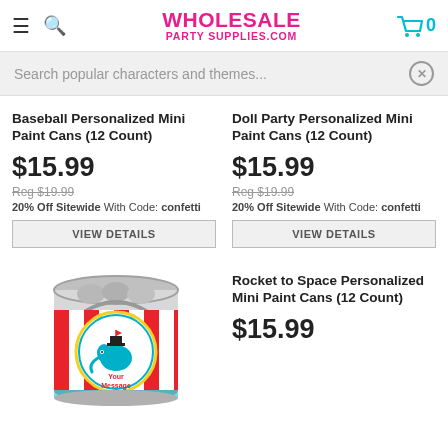WHOLESALE PARTY SUPPLIES.COM
Search popular characters and themes...
Baseball Personalized Mini Paint Cans (12 Count)
$15.99
Reg $19.99
20% Off Sitewide With Code: confetti
VIEW DETAILS
Doll Party Personalized Mini Paint Cans (12 Count)
$15.99
Reg $19.99
20% Off Sitewide With Code: confetti
VIEW DETAILS
[Figure (photo): Mini paint can with circus elephant design and 'Your Message Here' label]
Rocket to Space Personalized Mini Paint Cans (12 Count)
$15.99